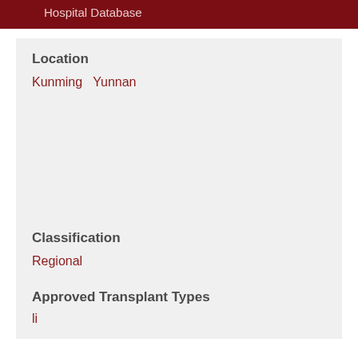Hospital Database
Location
Kunming  Yunnan
Classification
Regional
Approved Transplant Types
li...